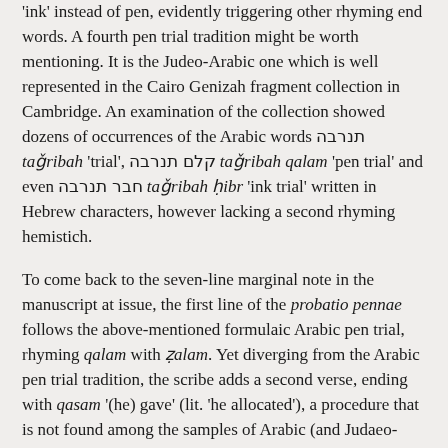'ink' instead of pen, evidently triggering other rhyming end words. A fourth pen trial tradition might be worth mentioning. It is the Judeo-Arabic one which is well represented in the Cairo Genizah fragment collection in Cambridge. An examination of the collection showed dozens of occurrences of the Arabic words תנרבה taǧribah 'trial', קלם תנרבה taǧribah qalam 'pen trial' and even חבר תנרבה taǧribah ḥibr 'ink trial' written in Hebrew characters, however lacking a second rhyming hemistich.
To come back to the seven-line marginal note in the manuscript at issue, the first line of the probatio pennae follows the above-mentioned formulaic Arabic pen trial, rhyming qalam with ẓalam. Yet diverging from the Arabic pen trial tradition, the scribe adds a second verse, ending with qasam '(he) gave' (lit. 'he allocated'), a procedure that is not found among the samples of Arabic (and Judaeo-Arabic) pen trials, in which the formulaic verse usually appears on its own. The scribe drives the innovation further by adding the first three verses of chapter 111 of the Septuagint Psalter. The latter have turned out to be interesting by